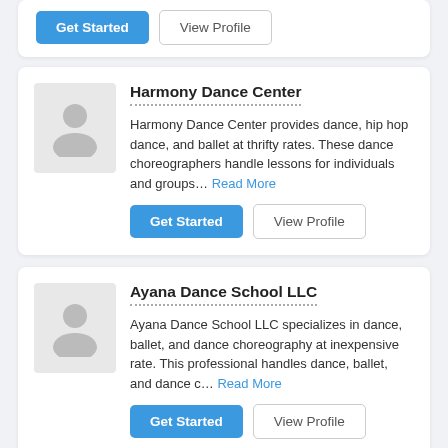[Partial card with Get Started and View Profile buttons at top]
Harmony Dance Center
Harmony Dance Center provides dance, hip hop dance, and ballet at thrifty rates. These dance choreographers handle lessons for individuals and groups... Read More
Get Started | View Profile
Ayana Dance School LLC
Ayana Dance School LLC specializes in dance, ballet, and dance choreography at inexpensive rate. This professional handles dance, ballet, and dance c... Read More
Get Started | View Profile